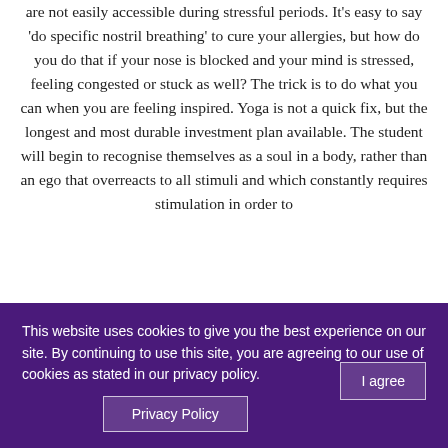breathing techniques prescribed for specific ailments are not easily accessible during stressful periods. It's easy to say 'do specific nostril breathing' to cure your allergies, but how do you do that if your nose is blocked and your mind is stressed, feeling congested or stuck as well? The trick is to do what you can when you are feeling inspired. Yoga is not a quick fix, but the longest and most durable investment plan available. The student will begin to recognise themselves as a soul in a body, rather than an ego that overreacts to all stimuli and which constantly requires stimulation in order to
This website uses cookies to give you the best experience on our site. By continuing to use this site, you are agreeing to our use of cookies as stated in our privacy policy.
I agree
Privacy Policy